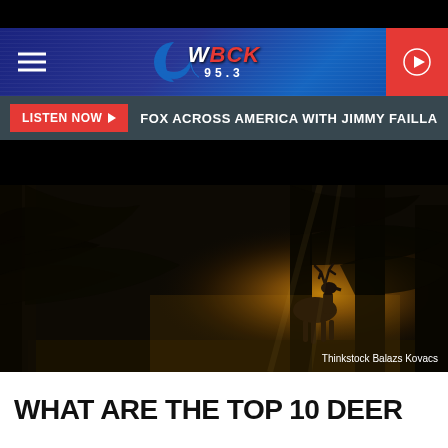[Figure (logo): WBCK 95.3 radio station logo with hamburger menu and play button on dark blue striped navigation bar]
LISTEN NOW ▶   FOX ACROSS AMERICA WITH JIMMY FAILLA
[Figure (photo): A deer with large antlers standing in a misty, dark forest with golden backlight filtering through the trees]
Thinkstock Balazs Kovacs
WHAT ARE THE TOP 10 DEER